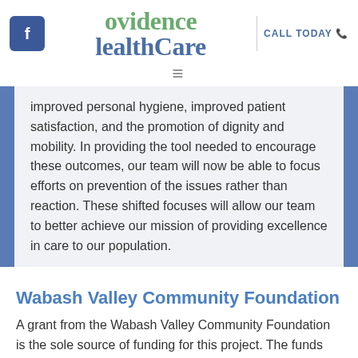Providence HealthCare | CALL TODAY
improved personal hygiene, improved patient satisfaction, and the promotion of dignity and mobility. In providing the tool needed to encourage these outcomes, our team will now be able to focus efforts on prevention of the issues rather than reaction. These shifted focuses will allow our team to better achieve our mission of providing excellence in care to our population.
Wabash Valley Community Foundation
A grant from the Wabash Valley Community Foundation is the sole source of funding for this project. The funds from the Community Foundation have been utilized to purchase an Esthetician